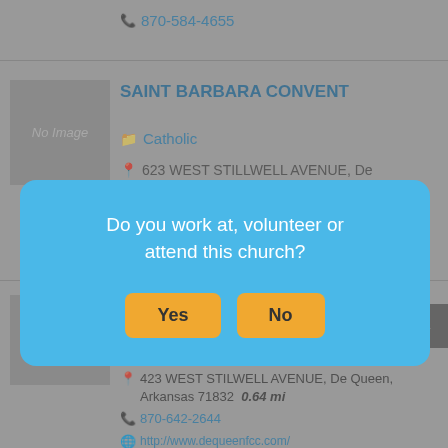870-584-4655
SAINT BARBARA CONVENT
Catholic
623 WEST STILLWELL AVENUE, De
Do you work at, volunteer or attend this church?
Yes
No
423 WEST STILWELL AVENUE, De Queen, Arkansas 71832  0.64 mi
870-642-2644
http://www.dequeenfcc.com/